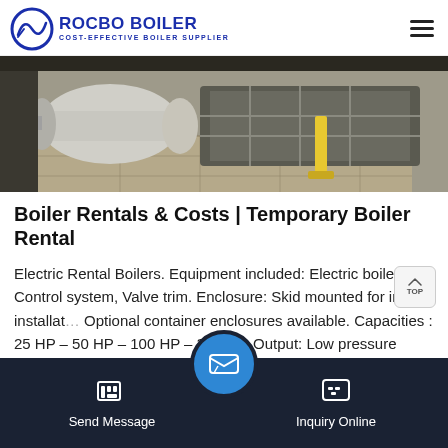ROCBO BOILER — COST-EFFECTIVE BOILER SUPPLIER
[Figure (photo): Industrial boiler equipment on a factory floor with metal framing and yellow support stands]
Boiler Rentals & Costs | Temporary Boiler Rental
Electric Rental Boilers. Equipment included: Electric boiler, Control system, Valve trim. Enclosure: Skid mounted for indoor installation. Optional container enclosures available. Capacities : 25 HP – 50 HP – 100 HP – 350 HP. Output: Low pressure steam, High…
Get Price
Send Message   Inquiry Online